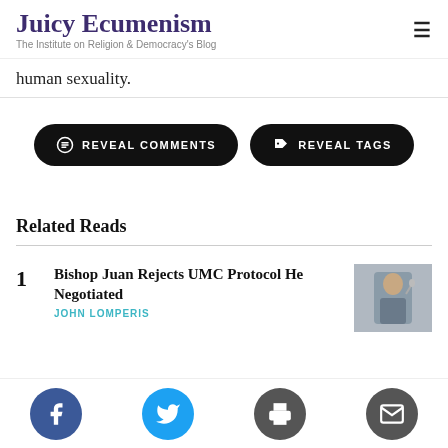Juicy Ecumenism — The Institute on Religion & Democracy's Blog
human sexuality.
REVEAL COMMENTS   REVEAL TAGS
Related Reads
1 Bishop Juan Rejects UMC Protocol He Negotiated — JOHN LOMPERIS